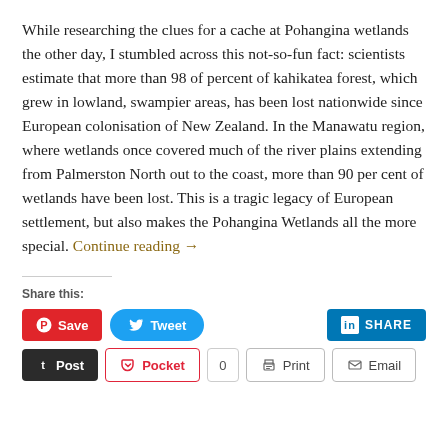While researching the clues for a cache at Pohangina wetlands the other day, I stumbled across this not-so-fun fact: scientists estimate that more than 98 of percent of kahikatea forest, which grew in lowland, swampier areas, has been lost nationwide since European colonisation of New Zealand. In the Manawatu region, where wetlands once covered much of the river plains extending from Palmerston North out to the coast, more than 90 per cent of wetlands have been lost. This is a tragic legacy of European settlement, but also makes the Pohangina Wetlands all the more special. Continue reading →
Share this: